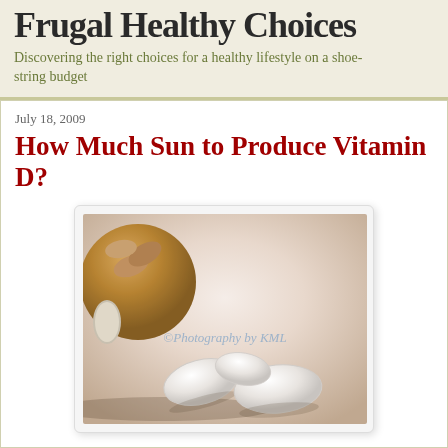Frugal Healthy Choices
Discovering the right choices for a healthy lifestyle on a shoestring budget
July 18, 2009
How Much Sun to Produce Vitamin D?
[Figure (photo): A pill bottle tipped on its side with white oval tablets spilling out onto a white surface. Watermark reads '©Photography by KML'.]